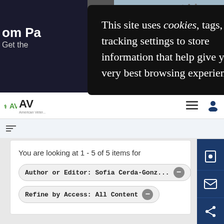[Figure (screenshot): Website header with dark left panel showing 'om Pa' and 'Get the' text, and right panel showing an animal (dog) photo with Boehringer Ingelheim Animal Health label]
[Figure (logo): AVA (American Veterinary Association) logo with green caduceus icon]
You are looking at 1 - 5 of 5 items for
Author or Editor: Sofia Cerda-Gonz...
Refine by Access: All Content
This site uses cookies, tags, and tracking settings to store information that help give you the very best browsing experience.